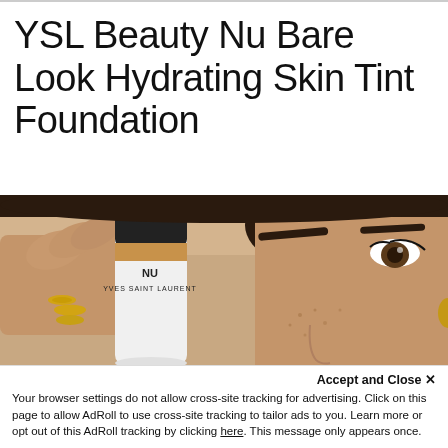YSL Beauty Nu Bare Look Hydrating Skin Tint Foundation
[Figure (photo): A woman holding a white YSL Beauty NU Yves Saint Laurent foundation tube close to her face, covering one eye. The tube has a tan/beige cap and white body with NU YVES SAINT LAURENT branding. The model has freckles, gold hoop earrings, and natural makeup.]
Accept and Close ✕
Your browser settings do not allow cross-site tracking for advertising. Click on this page to allow AdRoll to use cross-site tracking to tailor ads to you. Learn more or opt out of this AdRoll tracking by clicking here. This message only appears once.